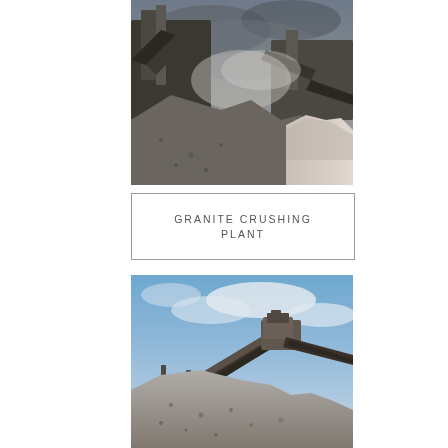[Figure (photo): Industrial granite crushing plant machinery with conveyor belts, stone aggregate piles, and dust clouds under an overcast sky]
GRANITE CRUSHING PLANT
[Figure (photo): Granite crushing plant with an inclined conveyor belt carrying aggregate material, gravel pile in foreground, blue sky with clouds in background]